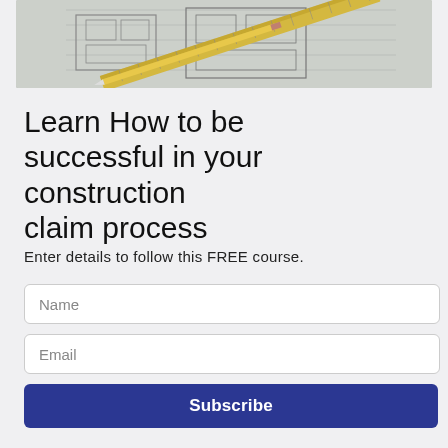[Figure (photo): Overhead photo of architectural blueprints/construction drawings with a ruler and pencil on top]
Learn How to be successful in your construction claim process
Enter details to follow this FREE course.
Name
Email
Subscribe